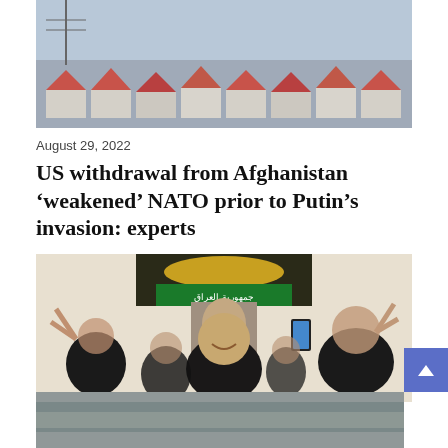[Figure (photo): Aerial or elevated view of buildings/rooftops, partially visible at top of page]
August 29, 2022
US withdrawal from Afghanistan ‘weakened’ NATO prior to Putin’s invasion: experts
[Figure (photo): Crowd of people making peace signs, holding a portrait of Moqtada al-Sadr, with Iraqi republic emblem in background]
August 29, 2022
Iraqi protesters storm government palace after cleric Moqtada al-Sadr quits politics
[Figure (photo): Partially visible photo at bottom of page]